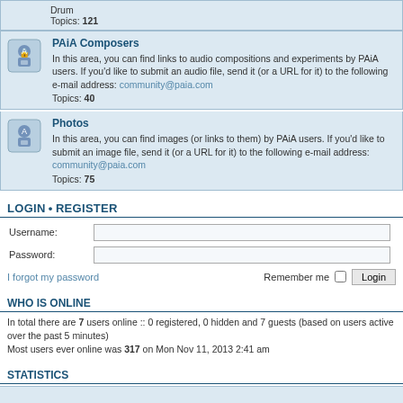Drum
Topics: 121
PAiA Composers
In this area, you can find links to audio compositions and experiments by PAiA users. If you'd like to submit an audio file, send it (or a URL for it) to the following e-mail address: community@paia.com
Topics: 40
Photos
In this area, you can find images (or links to them) by PAiA users. If you'd like to submit an image file, send it (or a URL for it) to the following e-mail address: community@paia.com
Topics: 75
LOGIN • REGISTER
Username:
Password:
I forgot my password
Remember me   Login
WHO IS ONLINE
In total there are 7 users online :: 0 registered, 0 hidden and 7 guests (based on users active over the past 5 minutes)
Most users ever online was 317 on Mon Nov 11, 2013 2:41 am
STATISTICS
Total posts 1680 • Total topics 729 • Total members 534 • Our newest member neurot1